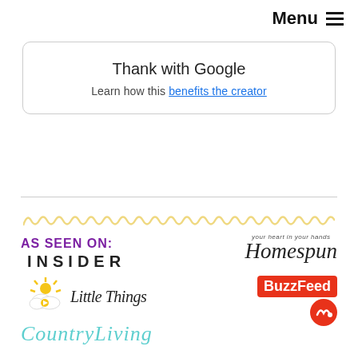Menu ≡
Thank with Google
Learn how this benefits the creator
[Figure (logo): AS SEEN ON: Homespun magazine logo, INSIDER text logo, Little Things logo, BuzzFeed logo, Country Living logo, decorative loop border at top]
AS SEEN ON: INSIDER, Homespun, Little Things, BuzzFeed, Country Living